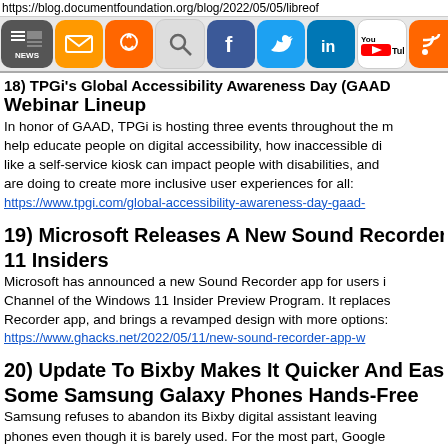https://blog.documentfoundation.org/blog/2022/05/05/libreof
[Figure (screenshot): Browser toolbar with social media and navigation buttons: NEWS, SUBSCRIBE, DONATE, SEARCH, Facebook, Twitter, LinkedIn, YouTube, RSS]
18) TPGi's Global Accessibility Awareness Day (GAAD) Webinar Lineup
In honor of GAAD, TPGi is hosting three events throughout the month to help educate people on digital accessibility, how inaccessible digital tech like a self-service kiosk can impact people with disabilities, and what brands are doing to create more inclusive user experiences for all:
https://www.tpgi.com/global-accessibility-awareness-day-gaad-
19) Microsoft Releases A New Sound Recorder App For Windows 11 Insiders
Microsoft has announced a new Sound Recorder app for users in the Dev Channel of the Windows 11 Insider Preview Program. It replaces the Voice Recorder app, and brings a revamped design with more options:
https://www.ghacks.net/2022/05/11/new-sound-recorder-app-w
20) Update To Bixby Makes It Quicker And Easier To Access Some Samsung Galaxy Phones Hands-Free
Samsung refuses to abandon its Bixby digital assistant leaving it on some phones even though it is barely used. For the most part, Google which of course is available on Samsung's handsets has come...